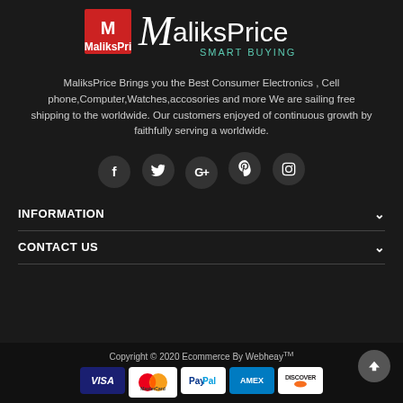[Figure (logo): MaliksPrice logo with red MP icon and text 'MaliksPrice SMART BUYING' in teal/white]
MaliksPrice Brings you the Best Consumer Electronics , Cell phone,Computer,Watches,accosories and more We are sailing free shipping to the worldwide. Our customers enjoyed of continuous growth by faithfully serving a worldwide.
[Figure (infographic): Row of 5 social media icon circles: Facebook (f), Twitter (bird), Google+ (G+), Pinterest (P), Instagram (camera)]
INFORMATION
CONTACT US
Copyright © 2020 Ecommerce By Webheay™
[Figure (infographic): Payment method icons: VISA, Mastercard, PayPal, AMEX, DISCOVER]